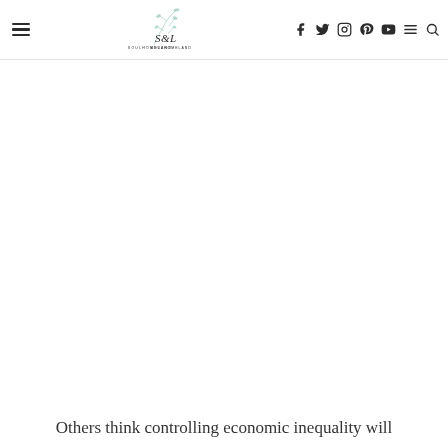Soul and Homeland blog header with navigation icons (hamburger, logo, facebook, twitter, instagram, pinterest, youtube, menu, search)
Others think controlling economic inequality will